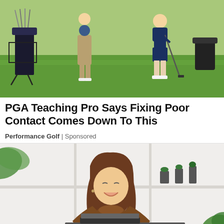[Figure (photo): Two golfers on a golf course. One is swinging a golf club while the other watches. A golf bag on a stand is visible on the left. Green grass in the background.]
PGA Teaching Pro Says Fixing Poor Contact Comes Down To This
Performance Golf | Sponsored
[Figure (photo): A smiling young woman with long brown hair wearing a brown turtleneck sweater, sitting at a desk and looking at a laptop. White shelving unit with small plants in the background.]